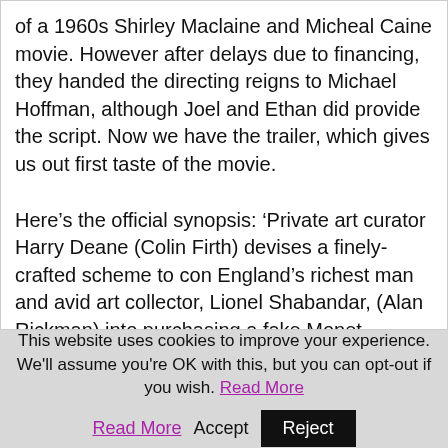of a 1960s Shirley Maclaine and Micheal Caine movie. However after delays due to financing, they handed the directing reigns to Michael Hoffman, although Joel and Ethan did provide the script. Now we have the trailer, which gives us out first taste of the movie.
Here's the official synopsis: 'Private art curator Harry Deane (Colin Firth) devises a finely-crafted scheme to con England's richest man and avid art collector, Lionel Shabandar, (Alan Rickman) into purchasing a fake Monet painting. In order to bait his buyer, he recruits a Texas rodeo queen (Cameron Diaz) to cross the pond and pose as a woman whose grandfather
This website uses cookies to improve your experience. We'll assume you're OK with this, but you can opt-out if you wish. Read More Accept Reject